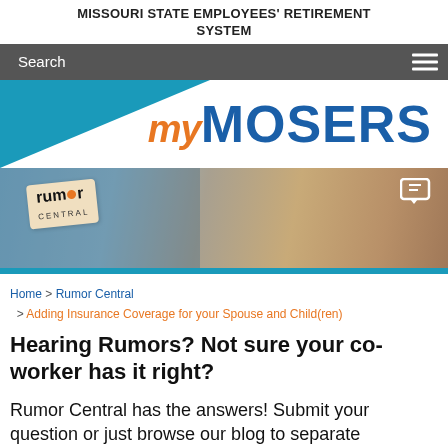MISSOURI STATE EMPLOYEES' RETIREMENT SYSTEM
[Figure (screenshot): Navigation bar with Search label and hamburger menu icon on dark gray background]
[Figure (logo): myMOSERS logo with blue triangle shape on left, orange italic 'my' and blue bold 'MOSERS' text on right]
[Figure (photo): Rumor Central hero banner image showing a woman whispering and a Rumor Central branded box, with chat icon]
Home > Rumor Central > Adding Insurance Coverage for your Spouse and Child(ren)
Hearing Rumors? Not sure your co-worker has it right?
Rumor Central has the answers! Submit your question or just browse our blog to separate